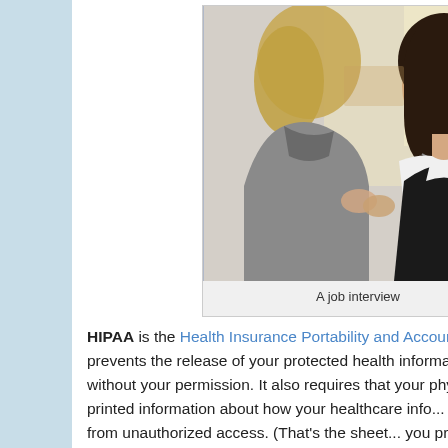[Figure (photo): A photo of two women in a job interview setting. One woman with blonde hair is seen from the back wearing a grey blazer, and the other woman with dark hair is facing forward wearing a black and white outfit with a necklace.]
A job interview
HIPAA is the Health Insurance Portability and Accountability Act. It prevents the release of your protected health information without your permission. It also requires that your physician provide you with printed information about how your healthcare information is protected from unauthorized access. (That's the sheet of paper you probably don't read during check-in, just sign that...